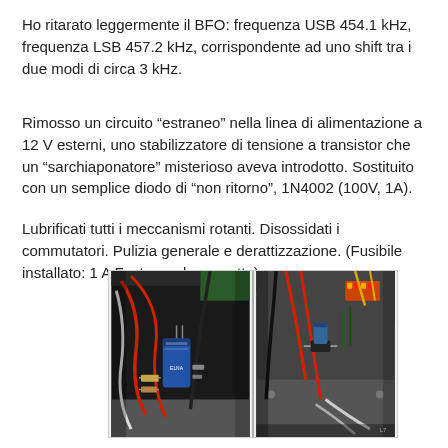Ho ritarato leggermente il BFO: frequenza USB 454.1 kHz, frequenza LSB 457.2 kHz, corrispondente ad uno shift tra i due modi di circa 3 kHz.
Rimosso un circuito “estraneo” nella linea di alimentazione a 12 V esterni, uno stabilizzatore di tensione a transistor che un “sarchiaponatore” misterioso aveva introdotto. Sostituito con un semplice diodo di “non ritorno”, 1N4002 (100V, 1A).
Lubrificati tutti i meccanismi rotanti. Disossidati i commutatori. Pulizia generale e derattizzazione. (Fusibile installato: 1 A Fast grande, corretto)
[Figure (photo): Two side-by-side photos of the interior of an electronic device (radio transceiver). Left photo shows wiring and a large blue electrolytic capacitor and resistors. Right photo shows wiring, connectors, and components on a metal chassis with a green PCB visible.]